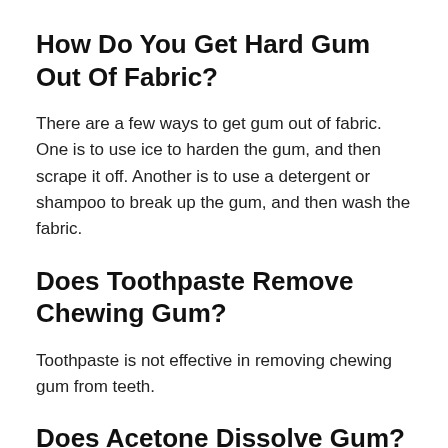How Do You Get Hard Gum Out Of Fabric?
There are a few ways to get gum out of fabric. One is to use ice to harden the gum, and then scrape it off. Another is to use a detergent or shampoo to break up the gum, and then wash the fabric.
Does Toothpaste Remove Chewing Gum?
Toothpaste is not effective in removing chewing gum from teeth.
Does Acetone Dissolve Gum?